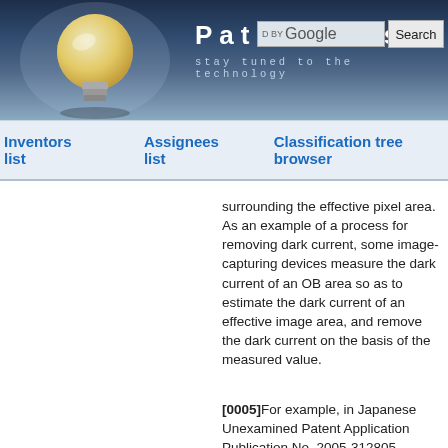Patentdocs — stay tuned to the technology
Inventors list | Assignees list | Classification tree browser
surrounding the effective pixel area. As an example of a process for removing dark current, some image-capturing devices measure the dark current of an OB area so as to estimate the dark current of an effective image area, and remove the dark current on the basis of the measured value.
[0005]For example, in Japanese Unexamined Patent Application Publication No. 2005-312805 described below, it is described that the ratio of dark current in an OB area in a